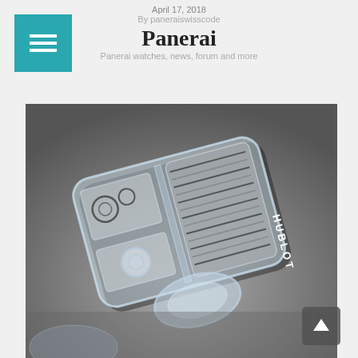April 17, 2018 | By paneraiswisscode | Panerai
[Figure (photo): Close-up macro photograph of a transparent/sapphire crystal Hublot watch movement or case construction, showing internal mechanical components including stacked discs, gears, and the HUBLOT brand name engraved on the side. The watch is set against a blurred dark metallic background.]